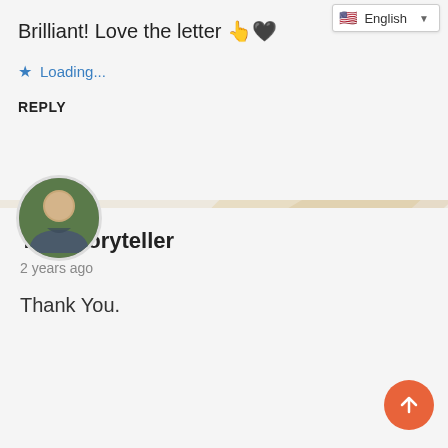[Figure (screenshot): Language selector dropdown showing English with flag icon in top right corner]
Brilliant! Love the letter 👆🖤
★ Loading...
REPLY
[Figure (photo): Circular avatar photo of a man outdoors]
The Storyteller
2 years ago
Thank You.